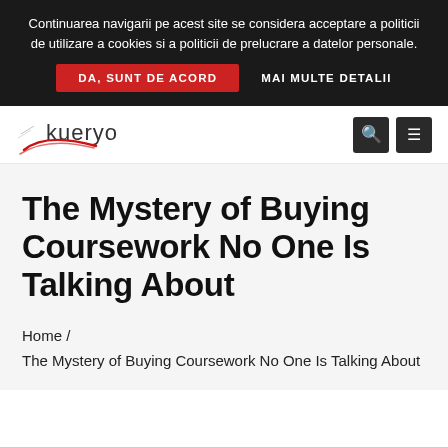Continuarea navigarii pe acest site se considera acceptare a politicii de utilizare a cookies si a politicii de prelucrare a datelor personale.
DA, SUNT DE ACORD
MAI MULTE DETALII
[Figure (logo): Kueryo logo with red swoosh graphic]
The Mystery of Buying Coursework No One Is Talking About
Home / The Mystery of Buying Coursework No One Is Talking About